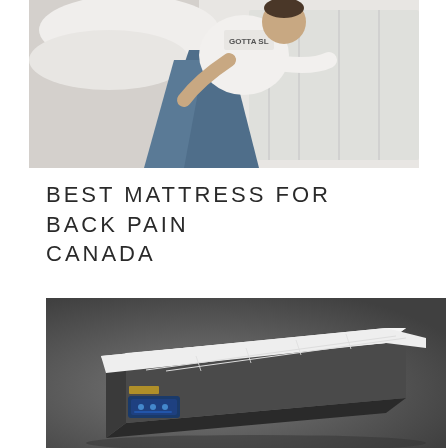[Figure (photo): A man in jeans and a white shirt lying on a bed with white pillows and bedding, wearing a shirt that reads 'GOTTA SL...']
BEST MATTRESS FOR BACK PAIN CANADA
[Figure (photo): A mattress with white top and dark grey/black sides on a dark grey background, with a small blue control panel on the side.]